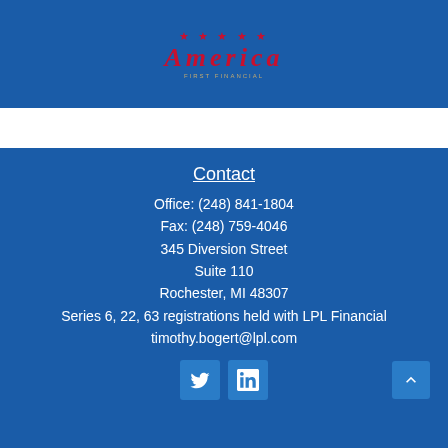[Figure (logo): America First Financial logo with stars and red italic text, golden subtitle text]
Contact
Office: (248) 841-1804
Fax: (248) 759-4046
345 Diversion Street
Suite 110
Rochester, MI 48307
Series 6, 22, 63 registrations held with LPL Financial
timothy.bogert@lpl.com
[Figure (infographic): Twitter and LinkedIn social media icon buttons in blue squares]
Quick Links